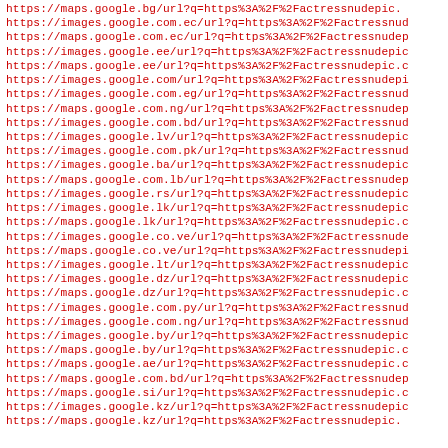https://maps.google.bg/url?q=https%3A%2F%2Factressnudepic.
https://images.google.com.ec/url?q=https%3A%2F%2Factressnud
https://maps.google.com.ec/url?q=https%3A%2F%2Factressnudep
https://images.google.ee/url?q=https%3A%2F%2Factressnudepic
https://maps.google.ee/url?q=https%3A%2F%2Factressnudepic.c
https://images.google.com/url?q=https%3A%2F%2Factressnudepi
https://images.google.com.eg/url?q=https%3A%2F%2Factressnud
https://maps.google.com.ng/url?q=https%3A%2F%2Factressnudep
https://images.google.com.bd/url?q=https%3A%2F%2Factressnud
https://images.google.lv/url?q=https%3A%2F%2Factressnudepic
https://images.google.com.pk/url?q=https%3A%2F%2Factressnud
https://images.google.ba/url?q=https%3A%2F%2Factressnudepic
https://maps.google.com.lb/url?q=https%3A%2F%2Factressnudep
https://images.google.rs/url?q=https%3A%2F%2Factressnudepic
https://images.google.lk/url?q=https%3A%2F%2Factressnudepic
https://maps.google.lk/url?q=https%3A%2F%2Factressnudepic.c
https://images.google.co.ve/url?q=https%3A%2F%2Factressnude
https://maps.google.co.ve/url?q=https%3A%2F%2Factressnudepi
https://images.google.lt/url?q=https%3A%2F%2Factressnudepic
https://images.google.dz/url?q=https%3A%2F%2Factressnudepic
https://maps.google.dz/url?q=https%3A%2F%2Factressnudepic.c
https://images.google.com.py/url?q=https%3A%2F%2Factressnud
https://images.google.com.ng/url?q=https%3A%2F%2Factressnud
https://images.google.by/url?q=https%3A%2F%2Factressnudepic
https://maps.google.by/url?q=https%3A%2F%2Factressnudepic.c
https://maps.google.ae/url?q=https%3A%2F%2Factressnudepic.c
https://maps.google.com.bd/url?q=https%3A%2F%2Factressnudep
https://maps.google.si/url?q=https%3A%2F%2Factressnudepic.c
https://images.google.kz/url?q=https%3A%2F%2Factressnudepic
https://maps.google.kz/url?q=https%3A%2F%2Factressnudepic.